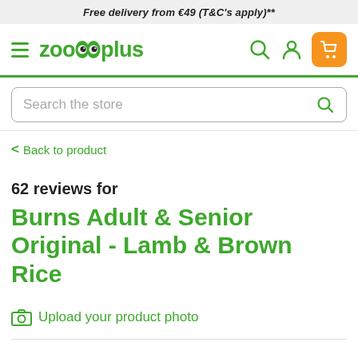Free delivery from €49 (T&C's apply)**
[Figure (logo): Zooplus logo with hamburger menu icon and navigation icons (search, account, cart)]
Search the store
< Back to product
62 reviews for
Burns Adult & Senior Original - Lamb & Brown Rice
Upload your product photo